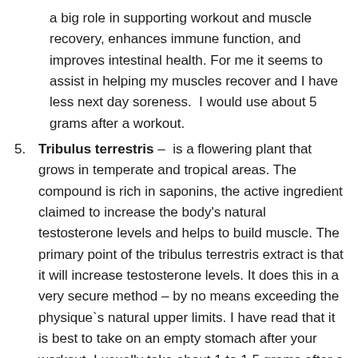a big role in supporting workout and muscle recovery, enhances immune function, and improves intestinal health. For me it seems to assist in helping my muscles recover and I have less next day soreness.  I would use about 5 grams after a workout.
Tribulus terrestris – is a flowering plant that grows in temperate and tropical areas. The compound is rich in saponins, the active ingredient claimed to increase the body's natural testosterone levels and helps to build muscle. The primary point of the tribulus terrestris extract is that it will increase testosterone levels. It does this in a very secure method – by no means exceeding the physique`s natural upper limits. I have read that it is best to take on an empty stomach after your workout. I usually take about 1 to 1.5 grams after a workout.